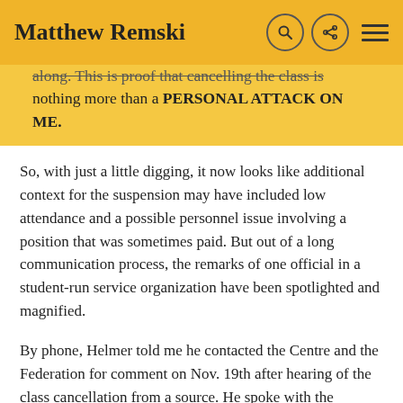Matthew Remski
along. This is proof that cancelling the class is nothing more than a PERSONAL ATTACK ON ME.
So, with just a little digging, it now looks like additional context for the suspension may have included low attendance and a possible personnel issue involving a position that was sometimes paid. But out of a long communication process, the remarks of one official in a student-run service organization have been spotlighted and magnified.
By phone, Helmer told me he contacted the Centre and the Federation for comment on Nov. 19th after hearing of the class cancellation from a source. He spoke with the Federation's acting president Roméo Ahimakin. At that point, Ahimakin didn't bring up any concern over “cultural appropriation”.